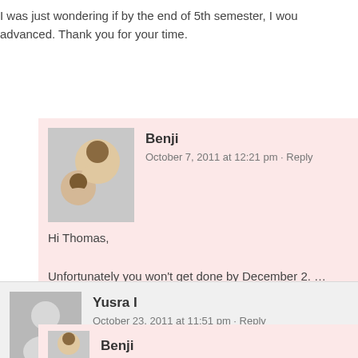I was just wondering if by the end of 5th semester, I wou… advanced. Thank you for your time.
Benji
October 7, 2011 at 12:21 pm · Reply

Hi Thomas,

Unfortunately you won't get done by December 2. … semester.

Good luck!

Benji
Yusra I
October 23, 2011 at 11:51 pm · Reply

Could you offer any feedback on how to pre…
Benji